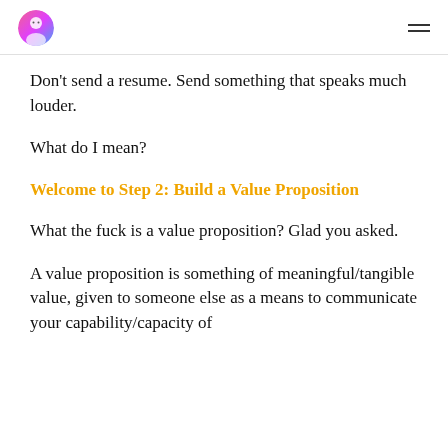[avatar icon] [hamburger menu]
Don't send a resume. Send something that speaks much louder.
What do I mean?
Welcome to Step 2: Build a Value Proposition
What the fuck is a value proposition? Glad you asked.
A value proposition is something of meaningful/tangible value, given to someone else as a means to communicate your capability/capacity of